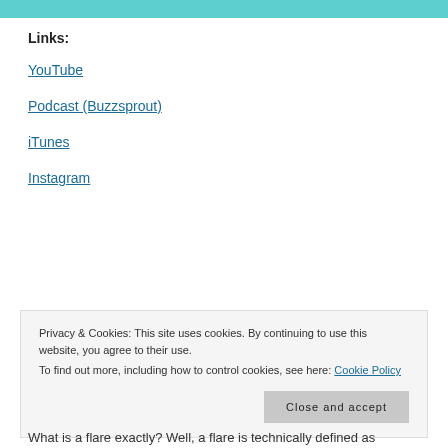Links:
YouTube
Podcast (Buzzsprout)
iTunes
Instagram
Privacy & Cookies: This site uses cookies. By continuing to use this website, you agree to their use.
To find out more, including how to control cookies, see here: Cookie Policy
Close and accept
What is a flare exactly? Well, a flare is technically defined as